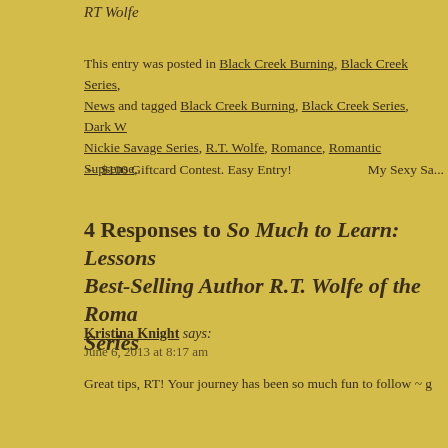RT Wolfe
This entry was posted in Black Creek Burning, Black Creek Series, News and tagged Black Creek Burning, Black Creek Series, Dark W..., Nickie Savage Series, R.T. Wolfe, Romance, Romantic Supsense,
← $100 Giftcard Contest. Easy Entry!   My Sexy Sa...
4 Responses to So Much to Learn: Lessons... Best-Selling Author R.T. Wolfe of the Roman... Series
Kristina Knight says:
June 6, 2013 at 8:17 am
Great tips, RT! Your journey has been so much fun to follow ~ g...